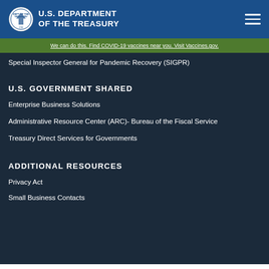U.S. DEPARTMENT OF THE TREASURY
We can do this. Find COVID-19 vaccines near you. Visit Vaccines.gov.
Special Inspector General for Pandemic Recovery (SIGPR)
U.S. GOVERNMENT SHARED
Enterprise Business Solutions
Administrative Resource Center (ARC)- Bureau of the Fiscal Service
Treasury Direct Services for Governments
ADDITIONAL RESOURCES
Privacy Act
Small Business Contacts